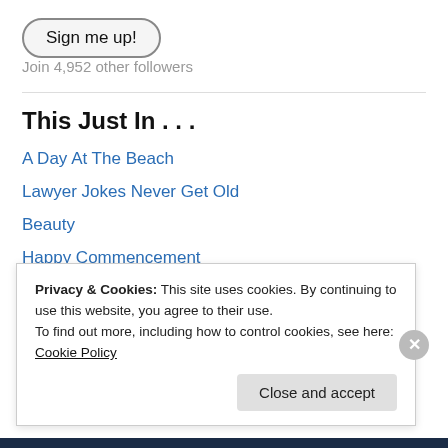Sign me up!
Join 4,952 other followers
This Just In . . .
A Day At The Beach
Lawyer Jokes Never Get Old
Beauty
Happy Commencement
Champ Jaxon
Biking Makes Me Feel Young!
Privacy & Cookies: This site uses cookies. By continuing to use this website, you agree to their use.
To find out more, including how to control cookies, see here: Cookie Policy
Close and accept